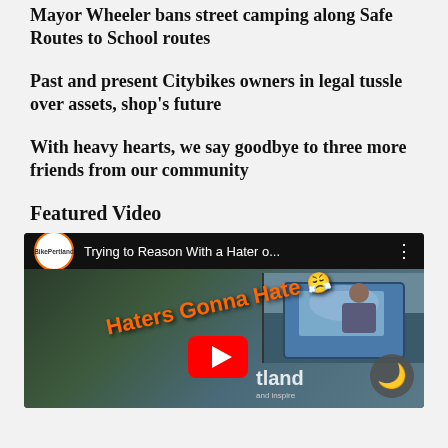Mayor Wheeler bans street camping along Safe Routes to School routes
Past and present Citybikes owners in legal tussle over assets, shop’s future
With heavy hearts, we say goodbye to three more friends from our community
Featured Video
[Figure (screenshot): YouTube video thumbnail for BikePortland channel: 'Trying to Reason With a Hater o...' showing text 'Haters Gonna Hate' with emoji over a car scene, with YouTube play button overlay and a moon/dark mode button in bottom right.]